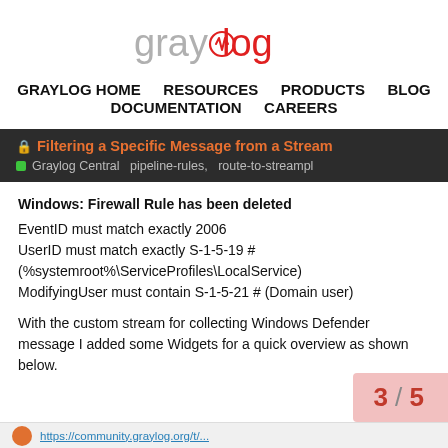[Figure (logo): Graylog logo: 'gray' in light gray and 'log' in red with a small waveform icon]
GRAYLOG HOME   RESOURCES   PRODUCTS   BLOG   DOCUMENTATION   CAREERS
🔒 Filtering a Specific Message from a Stream
Graylog Central   pipeline-rules,  route-to-streampl
Windows: Firewall Rule has been deleted
EventID must match exactly 2006
UserID must match exactly S-1-5-19 # (%systemroot%\ServiceProfiles\LocalService)
ModifyingUser must contain S-1-5-21 # (Domain user)
With the custom stream for collecting Windows Defender message I added some Widgets for a quick overview as shown below.